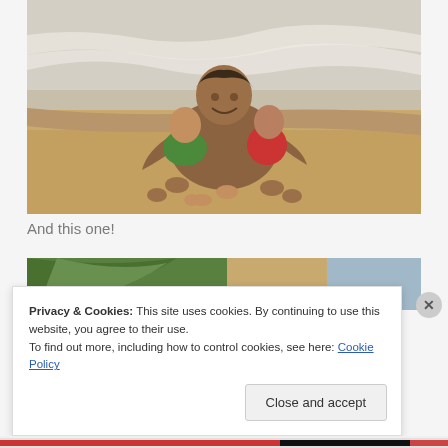[Figure (photo): A man sitting on a sandy beach with two young children. Ocean waves are visible in the background. The man is shirtless and smiling, holding a toddler in a green shirt and sitting next to a young girl in a red swimsuit.]
And this one!
[Figure (photo): Partial view of a second beach photo showing green foliage and beach scene, partially obscured by cookie consent banner.]
Privacy & Cookies: This site uses cookies. By continuing to use this website, you agree to their use.
To find out more, including how to control cookies, see here: Cookie Policy
Close and accept